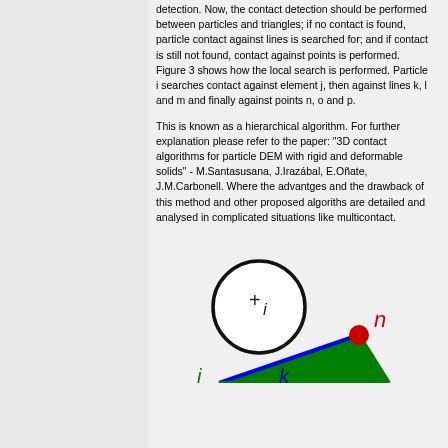detection. Now, the contact detection should be performed between particles and triangles; if no contact is found, particle contact against lines is searched for; and if contact is still not found, contact against points is performed. Figure 3 shows how the local search is performed. Particle i searches contact against element j, then against lines k, l and m and finally against points n, o and p.
This is known as a hierarchical algorithm. For further explanation please refer to the paper: "3D contact algorithms for particle DEM with rigid and deformable solids" - M.Santasusana, J.Irazábal, E.Oñate, J.M.Carbonell. Where the advantges and the drawback of this method and other proposed algoriths are detailed and analysed in complicated situations like multicontact.
[Figure (illustration): Diagram showing a circle with '+i' inside representing particle i, next to a green triangle with blue and green edges. A red dot at the top-right vertex is labeled 'n' in red italic. The bottom-left is labeled 'i' in green italic, and near the bottom-center is 'k' in blue italic.]